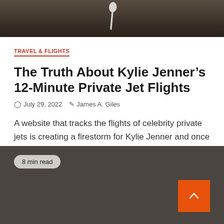[Figure (photo): Dark wooden background photo with a white spoon or utensil visible at the top of the image]
TRAVEL & FLIGHTS
The Truth About Kylie Jenner’s 12-Minute Private Jet Flights
July 29, 2022   James A. Giles
A website that tracks the flights of celebrity private jets is creating a firestorm for Kylie Jenner and once again...
8 min read